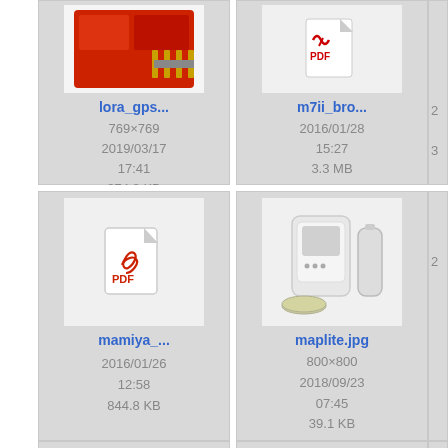[Figure (screenshot): File browser grid showing file thumbnails with metadata. Row 1 (partial): lora_gps... (769×769, 2019/03/17 17:41, 374.2 KB) and m7ii_bro... (2016/01/28 15:27, 3.3 MB). Row 2: mamiya_... PDF (2016/01/26 12:58, 844.8 KB) and maplite.jpg image (800×800, 2018/09/23 07:45, 39.1 KB). Row 3 (partial): two PDF icons.]